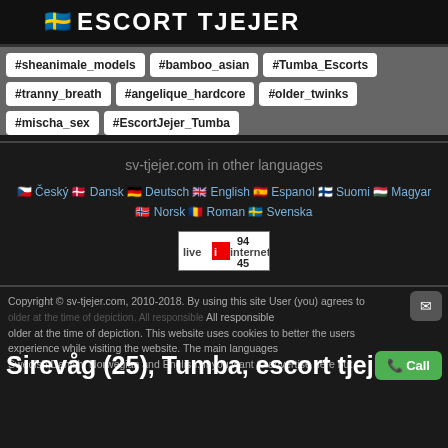🇸🇪 ESCORT TJEJER
#sheanimale_models
#bamboo_asian
#Tumba_Escorts
#tranny_breath
#angelique_hardcore
#older_twinks
#mischa_sex
#EscortJejer_Tumba
sv-tjejer.com in other languages
Český  Dansk  Deutsch  English  Espanol  Suomi  Magyar  Norsk  Roman  Svenska
[Figure (other): LiveInternet badge showing stats 94 and 45]
Copyright © sv-tjejer.com, 2010-2018. By using this site User (you) agrees to older at the time of depiction. This website uses cookies to better the users experience while visiting the website. The main languages Swedish,Danish, Norwegian and English. If you want to advertise here but
Sirevåg (25), Tumba, escort tjej